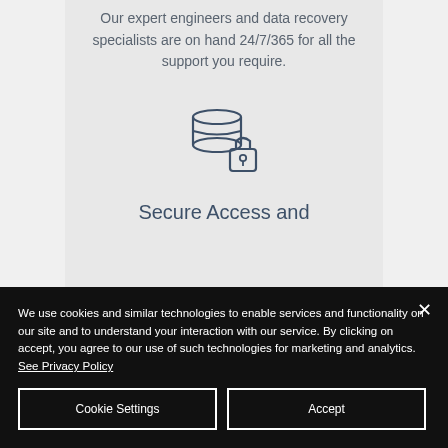Our expert engineers and data recovery specialists are on hand 24/7/365 for all the support you require.
[Figure (illustration): Database with padlock icon, indicating secure access]
Secure Access and
We use cookies and similar technologies to enable services and functionality on our site and to understand your interaction with our service. By clicking on accept, you agree to our use of such technologies for marketing and analytics. See Privacy Policy
Cookie Settings
Accept